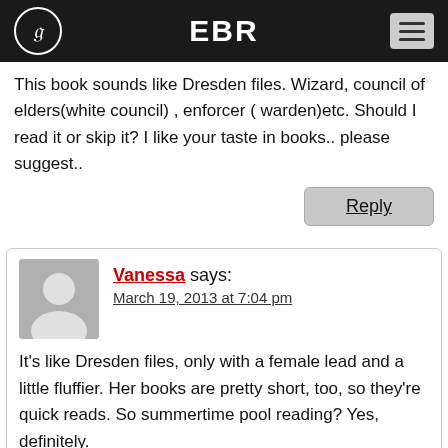EBR
This book sounds like Dresden files. Wizard, council of elders(white council) , enforcer ( warden)etc. Should I read it or skip it? I like your taste in books.. please suggest..
Vanessa says:
March 19, 2013 at 7:04 pm
It's like Dresden files, only with a female lead and a little fluffier. Her books are pretty short, too, so they're quick reads. So summertime pool reading? Yes, definitely.